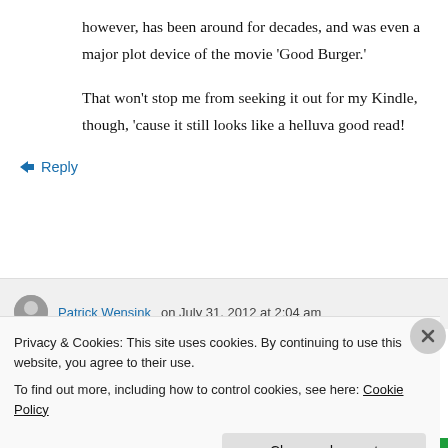however, has been around for decades, and was even a major plot device of the movie ‘Good Burger.’
That won’t stop me from seeking it out for my Kindle, though, ‘cause it still looks like a helluva good read!
↳ Reply
Patrick Wensink on July 31, 2012 at 2:04 am
Privacy & Cookies: This site uses cookies. By continuing to use this website, you agree to their use.
To find out more, including how to control cookies, see here: Cookie Policy
Close and accept